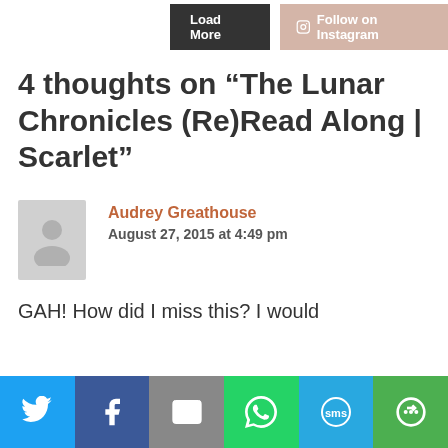Load More | Follow on Instagram
4 thoughts on “The Lunar Chronicles (Re)Read Along | Scarlet”
Audrey Greathouse
August 27, 2015 at 4:49 pm
GAH! How did I miss this? I would
Twitter | Facebook | Email | WhatsApp | SMS | More